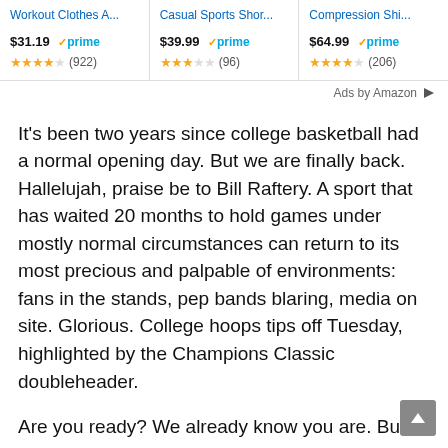[Figure (screenshot): Amazon ad banner with three product cards: 'Workout Clothes A...' $31.19 prime 4.5 stars (922 reviews), 'Casual Sports Shor...' $39.99 prime 3.5 stars (96 reviews), 'Compression Shi...' $64.99 prime 4 stars (206 reviews)]
Ads by Amazon
It's been two years since college basketball had a normal opening day. But we are finally back. Hallelujah, praise be to Bill Raftery. A sport that has waited 20 months to hold games under mostly normal circumstances can return to its most precious and palpable of environments: fans in the stands, pep bands blaring, media on site. Glorious. College hoops tips off Tuesday, highlighted by the Champions Classic doubleheader.
Are you ready? We already know you are. But if you want one more spin through the hype factory: We've had a fun